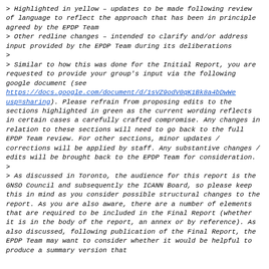> Highlighted in yellow – updates to be made following review of language to reflect the approach that has been in principle agreed by the EPDP Team
> Other redline changes – intended to clarify and/or address input provided by the EPDP Team during its deliberations
>
> Similar to how this was done for the Initial Report, you are requested to provide your group's input via the following google document (see https://docs.google.com/document/d/1sVZ9odV0qK1Bk8a4bDwWe usp=sharing). Please refrain from proposing edits to the sections highlighted in green as the current wording reflects in certain cases a carefully crafted compromise. Any changes in relation to these sections will need to go back to the full EPDP Team review. For other sections, minor updates / corrections will be applied by staff. Any substantive changes / edits will be brought back to the EPDP Team for consideration.
>
> As discussed in Toronto, the audience for this report is the GNSO Council and subsequently the ICANN Board, so please keep this in mind as you consider possible structural changes to the report. As you are also aware, there are a number of elements that are required to be included in the Final Report (whether it is in the body of the report, an annex or by reference). As also discussed, following publication of the Final Report, the EPDP Team may want to consider whether it would be helpful to produce a summary version that